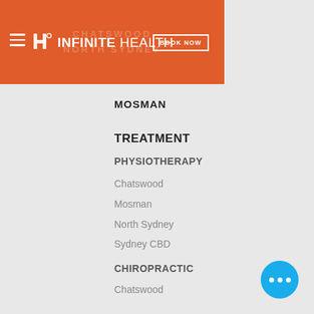[Figure (screenshot): Infinite Health website header with orange background, hamburger menu, logo, and BOOK NOW button]
MOSMAN
TREATMENT
PHYSIOTHERAPY
Chatswood
Mosman
North Sydney
Sydney CBD
CHIROPRACTIC
Chatswood
North Sydney
Sydney CBD
EXERCISE PHYSIOLOGY